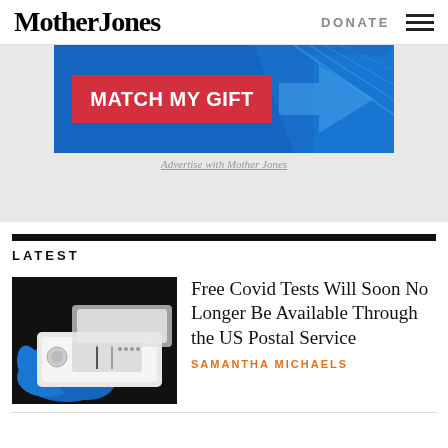Mother Jones
DONATE
[Figure (screenshot): Mother Jones advertisement banner with blue background, red button labeled MATCH MY GIFT, and blue graphic design element]
Advertise with Mother Jones
LATEST
[Figure (photo): Blue gloved hand holding a white rapid Covid antigen test device on dark background]
Free Covid Tests Will Soon No Longer Be Available Through the US Postal Service
SAMANTHA MICHAELS